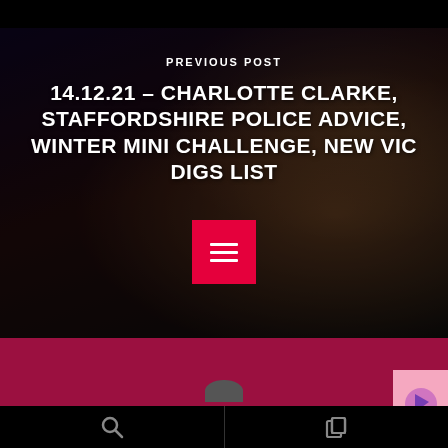[Figure (photo): Night-time exterior photo of a brick building with warm interior lighting, dark moody sky, used as hero background for a blog post navigation card.]
PREVIOUS POST
14.12.21 – CHARLOTTE CLARKE, STAFFORDSHIRE POLICE ADVICE, WINTER MINI CHALLENGE, NEW VIC DIGS LIST